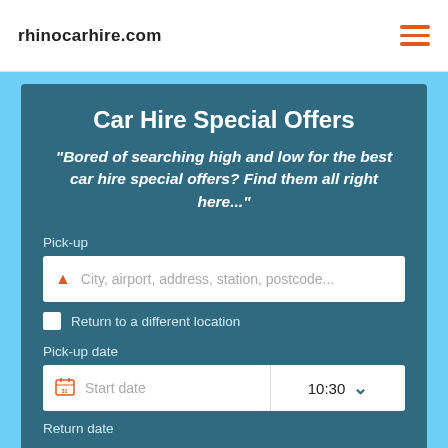rhinocarhire.com
Car Hire Special Offers
"Bored of searching high and low for the best car hire special offers? Find them all right here..."
Pick-up
City, airport, address, station, postcode...
Return to a different location
Pick-up date
Start date
10:30
Return date